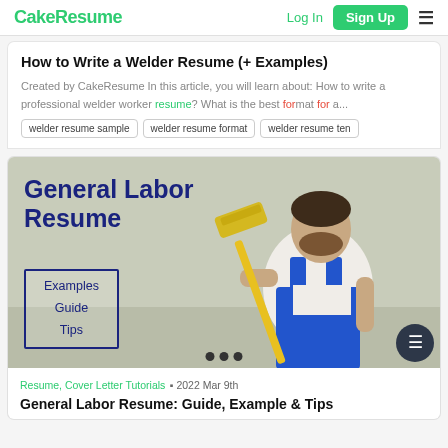CakeResume   Log In   Sign Up
How to Write a Welder Resume (+ Examples)
Created by CakeResume In this article, you will learn about: How to write a professional welder worker resume? What is the best format for a...
welder resume sample
welder resume format
welder resume ten
[Figure (photo): General Labor Resume promotional image showing a man in blue overalls holding a paint roller with bold text overlay: General Labor Resume, Examples, Guide, Tips]
Resume, Cover Letter Tutorials · 2022 Mar 9th
General Labor Resume: Guide, Example & Tips